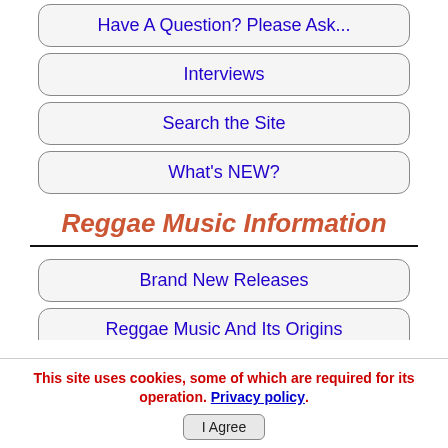Have A Question? Please Ask...
Interviews
Search the Site
What's NEW?
Reggae Music Information
Brand New Releases
Reggae Music And Its Origins
Reggae Mixtapes
This site uses cookies, some of which are required for its operation. Privacy policy.
I Agree